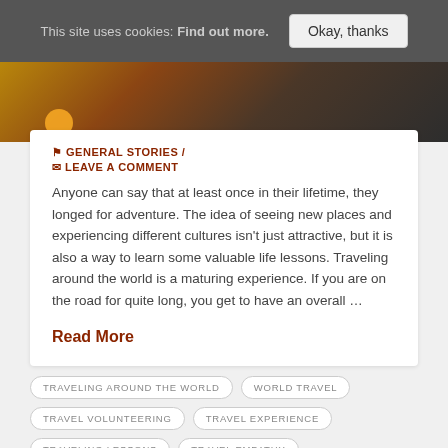This site uses cookies: Find out more.  Okay, thanks
[Figure (photo): Dark silhouette hero image with warm orange/golden sunset tones, showing a silhouetted figure. A yellow/orange circle (sun) is visible in the lower left.]
GENERAL STORIES /  LEAVE A COMMENT
Anyone can say that at least once in their lifetime, they longed for adventure. The idea of seeing new places and experiencing different cultures isn't just attractive, but it is also a way to learn some valuable life lessons. Traveling around the world is a maturing experience. If you are on the road for quite long, you get to have an overall …
Read More
TRAVELING AROUND THE WORLD
WORLD TRAVEL
TRAVEL VOLUNTEERING
TRAVEL EXPERIENCE
TRAVELING LESSONS
TRAVEL EMPATHY
SMART HEALTHCARE TECHNOLOGIES